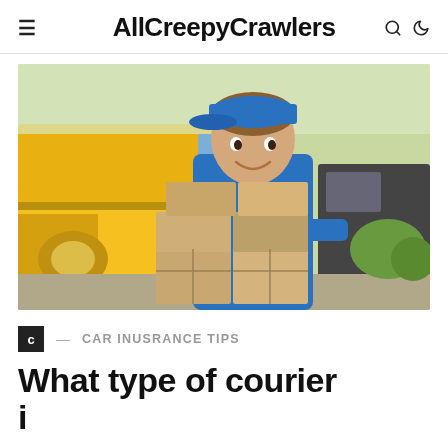AllCreepyCrawlers
[Figure (photo): A smiling delivery man wearing a blue uniform and cap, holding a stack of cardboard boxes, standing in front of a yellow delivery van with another dark van in the background.]
C — CAR INUSRANCE TIPS
What type of courier insurance do I?